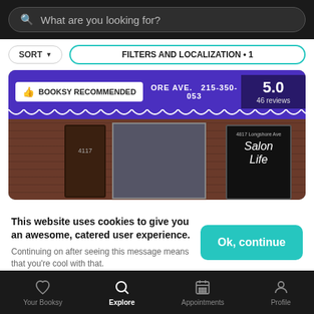[Figure (screenshot): Booksy app screenshot showing a search bar at top with 'What are you looking for?' placeholder, sort and filter buttons, a salon listing card with purple awning showing address and phone number '215-350-053', a rating of 5.0 with 46 reviews, a 'BOOKSY RECOMMENDED' badge, and a storefront with 'Salon Life' sign, followed by a cookie consent banner and bottom navigation bar.]
What are you looking for?
SORT
FILTERS AND LOCALIZATION • 1
BOOKSY RECOMMENDED
ORE AVE.  215-350-053
5.0
46 reviews
This website uses cookies to give you an awesome, catered user experience.
Continuing on after seeing this message means that you're cool with that.
Ok, continue
Your Booksy
Explore
Appointments
Profile